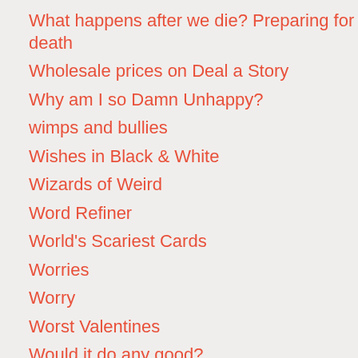What happens after we die? Preparing for death
Wholesale prices on Deal a Story
Why am I so Damn Unhappy?
wimps and bullies
Wishes in Black & White
Wizards of Weird
Word Refiner
World's Scariest Cards
Worries
Worry
Worst Valentines
Would it do any good?
writer's block
Writer's Kaboodle
Writer's Tool